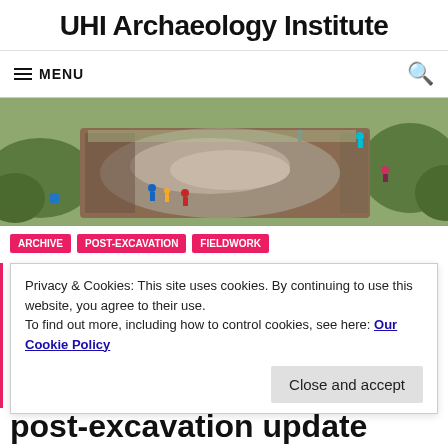UHI Archaeology Institute
≡ MENU
[Figure (photo): Aerial view of an archaeological excavation site showing workers digging in a rectangular trench with exposed stone foundations, surrounded by green grass.]
Privacy & Cookies: This site uses cookies. By continuing to use this website, you agree to their use. To find out more, including how to control cookies, see here: Our Cookie Policy
Close and accept
post-excavation update